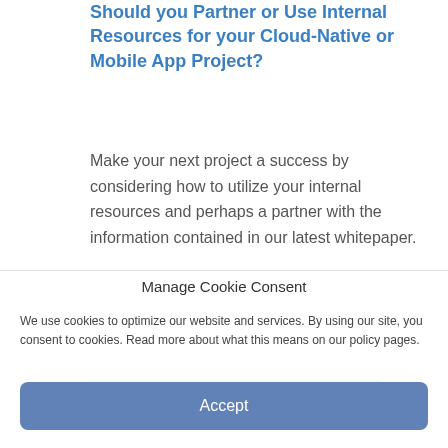Should you Partner or Use Internal Resources for your Cloud-Native or Mobile App Project?
Make your next project a success by considering how to utilize your internal resources and perhaps a partner with the information contained in our latest whitepaper.
[Figure (screenshot): Black banner button with white bold text reading READ THE WHITEPAPER]
Manage Cookie Consent
We use cookies to optimize our website and services. By using our site, you consent to cookies. Read more about what this means on our policy pages.
Accept